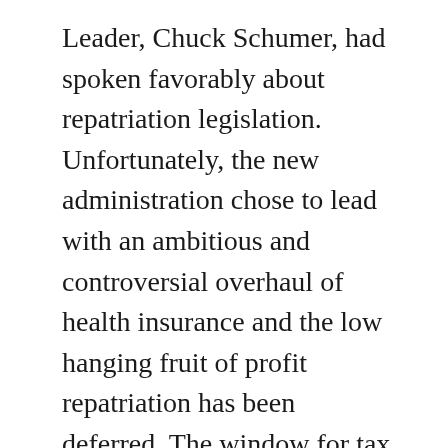Leader, Chuck Schumer, had spoken favorably about repatriation legislation. Unfortunately, the new administration chose to lead with an ambitious and controversial overhaul of health insurance and the low hanging fruit of profit repatriation has been deferred. The window for tax reform legislation is closing and we wonder if Republican congressional leaders will begin proposing separate legislation in an attempt to get something accomplished. It's been over 30 years since the last overhaul of the tax code and any progress in this area would most certainly be a positive.